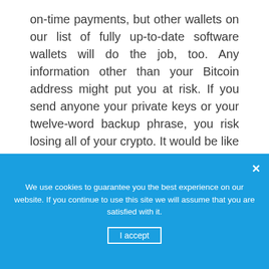on-time payments, but other wallets on our list of fully up-to-date software wallets will do the job, too. Any information other than your Bitcoin address might put you at risk. If you send anyone your private keys or your twelve-word backup phrase, you risk losing all of your crypto. It would be like giving out your password for your email address. And unlike your email address, there won't be any Google or Yahoo or Microsoft or Apple to restore rightful ownership.
We use cookies to guarantee you the best experience on our website. If you continue to use this site we will assume that you are satisfied with it.
I accept